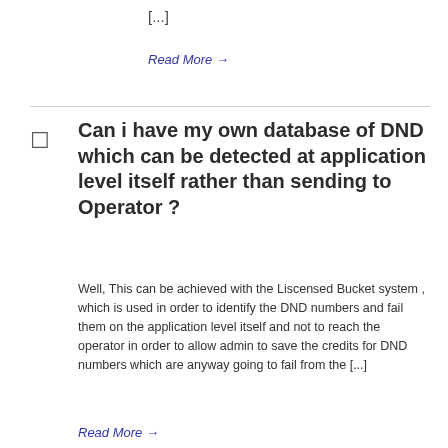[...]
Read More →
Can i have my own database of DND which can be detected at application level itself rather than sending to Operator ?
Well, This can be achieved with the Liscensed Bucket system , which is used in order to identify the DND numbers and fail them on the application level itself and not to reach the operator in order to allow admin to save the credits for DND numbers which are anyway going to fail from the [...]
Read More →